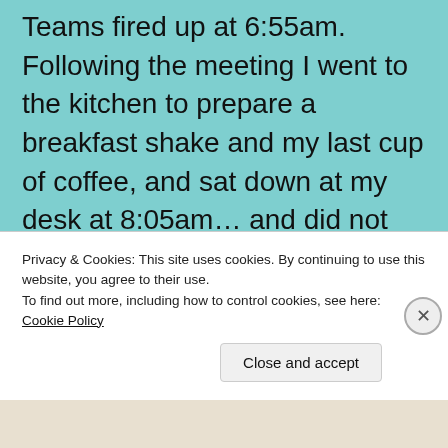Teams fired up at 6:55am. Following the meeting I went to the kitchen to prepare a breakfast shake and my last cup of coffee, and sat down at my desk at 8:05am… and did not leave my desk for any reason after that. I had the 'track my delivery' site open as I did my work, and would, from time to time, click 'refresh' to see if anything changed. When at 10:34am my phone chirped with a UPS Delivery Exception notice I was surprised. I refreshed the site, which now read 'Sorry we missed you.'
Privacy & Cookies: This site uses cookies. By continuing to use this website, you agree to their use.
To find out more, including how to control cookies, see here: Cookie Policy
Close and accept